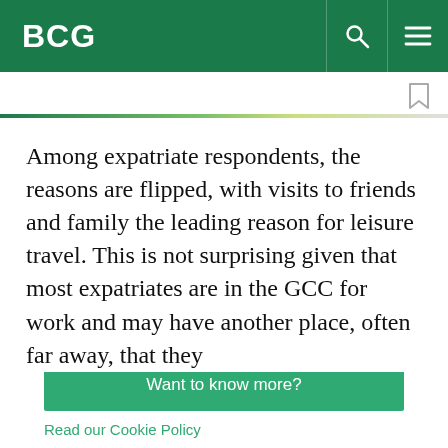BCG
Among expatriate respondents, the reasons are flipped, with visits to friends and family the leading reason for leisure travel. This is not surprising given that most expatriates are in the GCC for work and may have another place, often far away, that they
By using this site, you agree with our use of cookies.
I consent to cookies
Want to know more?
Read our Cookie Policy